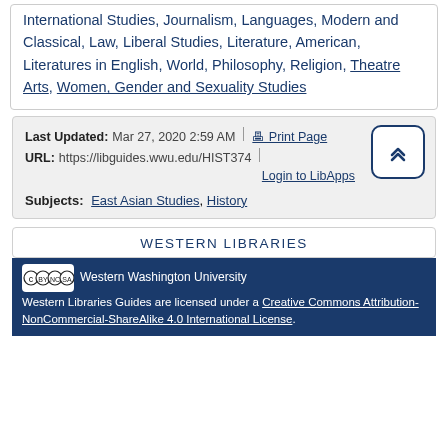International Studies, Journalism, Languages, Modern and Classical, Law, Liberal Studies, Literature, American, Literatures in English, World, Philosophy, Religion, Theatre Arts, Women, Gender and Sexuality Studies
Last Updated: Mar 27, 2020 2:59 AM | URL: https://libguides.wwu.edu/HIST374 | Print Page | Login to LibApps
Subjects: East Asian Studies, History
WESTERN LIBRARIES
Western Washington University
Western Libraries Guides are licensed under a Creative Commons Attribution-NonCommercial-ShareAlike 4.0 International License.